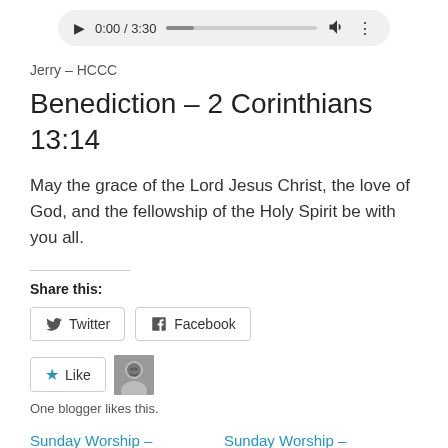[Figure (screenshot): Audio player UI showing play button, time 0:00 / 3:30, progress bar, volume icon, and more options icon on a light gray rounded rectangle background]
Jerry – HCCC
Benediction – 2 Corinthians 13:14
May the grace of the Lord Jesus Christ, the love of God, and the fellowship of the Holy Spirit be with you all.
Share this:
[Figure (screenshot): Share buttons: Twitter and Facebook buttons with icons]
[Figure (screenshot): Like button with star icon and blogger avatar thumbnail]
One blogger likes this.
Sunday Worship – 05/23/2021
Sunday Worship – 05/16/2021